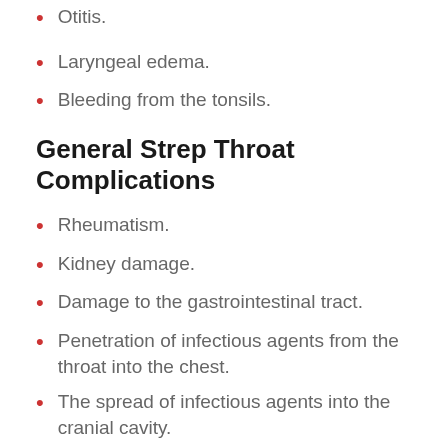Otitis.
Laryngeal edema.
Bleeding from the tonsils.
General Strep Throat Complications
Rheumatism.
Kidney damage.
Damage to the gastrointestinal tract.
Penetration of infectious agents from the throat into the chest.
The spread of infectious agents into the cranial cavity.
Sepsis is the most severe complication of step throat.